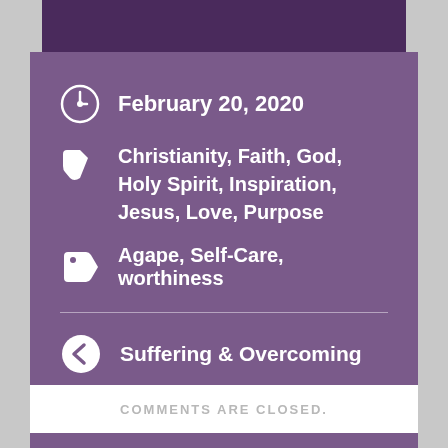February 20, 2020
Christianity, Faith, God, Holy Spirit, Inspiration, Jesus, Love, Purpose
Agape, Self-Care, worthiness
Suffering & Overcoming
NICE OR KIND?
COMMENTS ARE CLOSED.